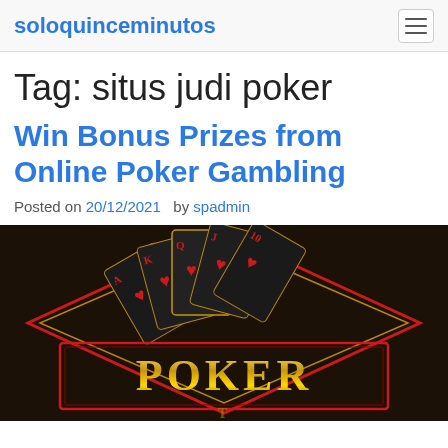soloquinceminutos
Tag: situs judi poker
Win Bonus Prizes from Online Poker Gambling
Posted on 20/12/2021   by spadmin
[Figure (photo): Dark poker-themed promotional image with playing cards fanned out (clubs, hearts) in gold and red on a dark background, with decorative diamond border elements and gold ornate 'POKER' text lettering at the bottom]